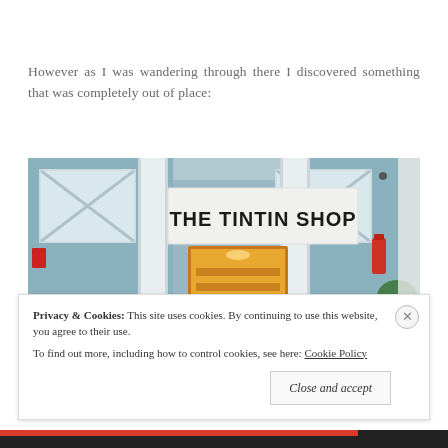However as I was wandering through there I discovered something that was completely out of place:
[Figure (photo): Photo of the storefront of 'THE TINTIN SHOP', showing a light blue facade with white X-patterned window shutters, white pillars, a large sign reading 'THE TINTIN SHOP', and the interior of the shop visible through the open doorway.]
Privacy & Cookies: This site uses cookies. By continuing to use this website, you agree to their use. To find out more, including how to control cookies, see here: Cookie Policy